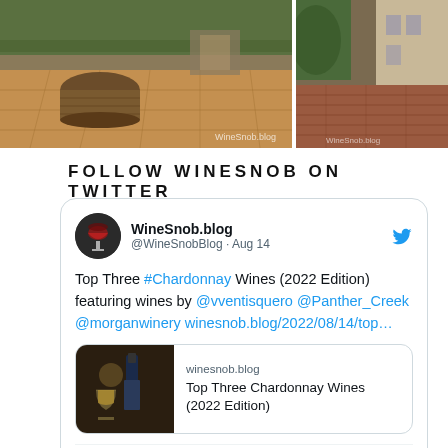[Figure (photo): Two side-by-side photos. Left: interior of a winery or tasting room with tiled floor and a wooden barrel/tub, watermark 'WineSnob.blog'. Right: outdoor brick walkway or street scene, partially cut off, watermark 'WineSnob.blog'.]
FOLLOW WINESNOB ON TWITTER
[Figure (screenshot): Twitter/X embedded tweet card from WineSnob.blog (@WineSnobBlog), dated Aug 14. Tweet text: 'Top Three #Chardonnay Wines (2022 Edition) featuring wines by @vventisquero @Panther_Creek @morganwinery winesnob.blog/2022/08/14/top…'. Includes a link preview card showing 'winesnob.blog' and 'Top Three Chardonnay Wines (2022 Edition)' with a photo of wine bottles and glasses.]